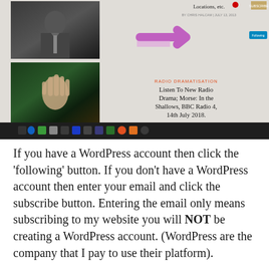[Figure (screenshot): Screenshot of a WordPress blog website showing two article thumbnail images (a man in suit, a hand raised in forest/water scene), a subscribe button, a pink/purple arrow pointing right toward a 'Following' button, a 'RADIO DRAMATISATION' article about 'Listen To New Radio Drama; Morse: In the Shallows, BBC Radio 4, 14th July 2018.', a Recent Comments sidebar, and a Windows taskbar at the bottom.]
If you have a WordPress account then click the ‘following’ button. If you don’t have a WordPress account then enter your email and click the subscribe button. Entering the email only means subscribing to my website you will NOT be creating a WordPress account. (WordPress are the company that I pay to use their platform).
To help run my website I have set up a Paypal account for donations. Thank you to all those who have made donations.